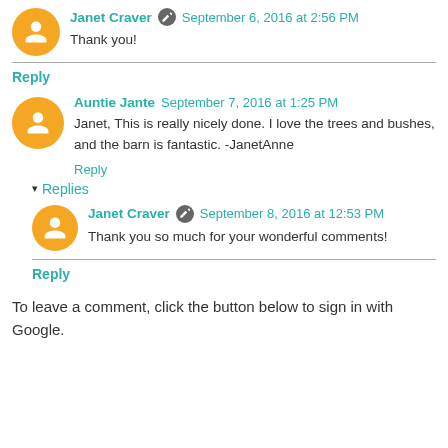Janet Craver · September 6, 2016 at 2:56 PM
Thank you!
Reply
Auntie Jante  September 7, 2016 at 1:25 PM
Janet, This is really nicely done. I love the trees and bushes, and the barn is fantastic. -JanetAnne
Reply
▾ Replies
Janet Craver · September 8, 2016 at 12:53 PM
Thank you so much for your wonderful comments!
Reply
To leave a comment, click the button below to sign in with Google.